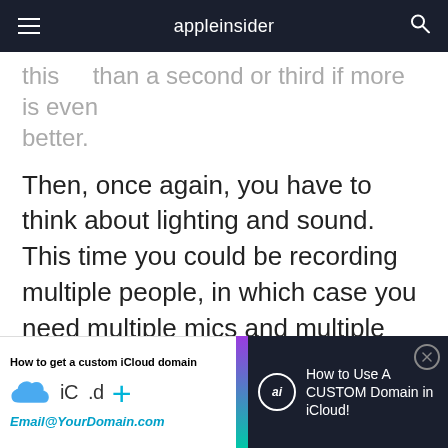appleinsider
this than a second or third if more is even better.
Then, once again, you have to think about lighting and sound. This time you could be recording multiple people, in which case you need multiple mics and multiple lights.
Or maybe you're filming in environments that are alike only in that they're all noisy. Then it's time to start looking at Lavier or lapel mics, and wind
[Figure (screenshot): Video overlay banner: left side shows 'How to get a custom iCloud domain' with iCloud icon, 'iC .d+' text and 'Email@YourDomain.com'. Right side on dark background shows 'How to Use A CUSTOM Domain in iCloud!' with ai badge and close button.]